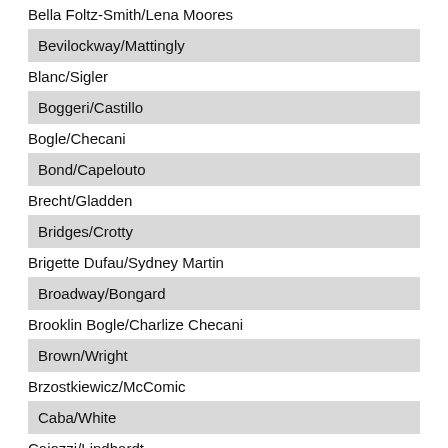Bella Foltz-Smith/Lena Moores
Bevilockway/Mattingly
Blanc/Sigler
Boggeri/Castillo
Bogle/Checani
Bond/Capelouto
Brecht/Gladden
Bridges/Crotty
Brigette Dufau/Sydney Martin
Broadway/Bongard
Brooklin Bogle/Charlize Checani
Brown/Wright
Brzostkiewicz/McComic
Caba/White
Caiozzi/Lindhardt